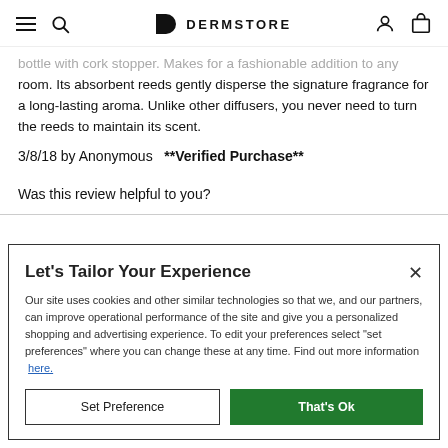DERMSTORE
bottle with cork stopper. Makes for a fashionable addition to any room. Its absorbent reeds gently disperse the signature fragrance for a long-lasting aroma. Unlike other diffusers, you never need to turn the reeds to maintain its scent.
3/8/18 by Anonymous   **Verified Purchase**
Was this review helpful to you?
Let’s Tailor Your Experience
Our site uses cookies and other similar technologies so that we, and our partners, can improve operational performance of the site and give you a personalized shopping and advertising experience. To edit your preferences select “set preferences” where you can change these at any time. Find out more information here.